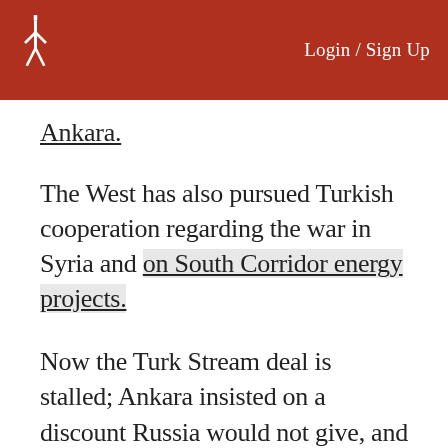Login / Sign Up
Ankara.
The West has also pursued Turkish cooperation regarding the war in Syria and on South Corridor energy projects.
Now the Turk Stream deal is stalled; Ankara insisted on a discount Russia would not give, and Moscow scaled down the project.
When Russian airstrikes began,